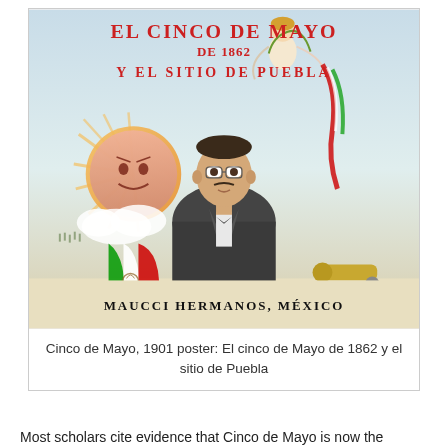[Figure (illustration): 1901 poster titled 'El Cinco de Mayo de 1862 y el sitio de Puebla' published by Maucci Hermanos, México. Features colorful illustration with text at top in red decorative letters, a woman angel figure flying above, a sun face, a portrait of a man in formal attire, Mexican flag, cannon and cannonballs, and soldiers in background.]
Cinco de Mayo, 1901 poster: El cinco de Mayo de 1862 y el sitio de Puebla
Most scholars cite evidence that Cinco de Mayo is now the